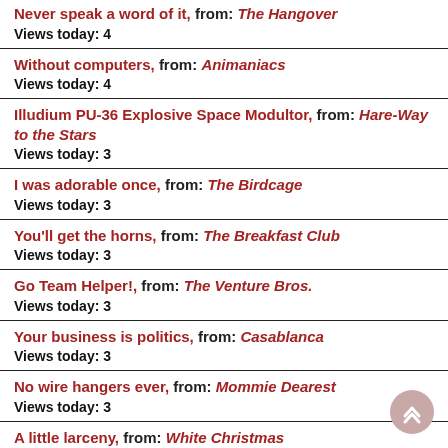Never speak a word of it, from: The Hangover
Views today: 4
Without computers, from: Animaniacs
Views today: 4
Illudium PU-36 Explosive Space Modultor, from: Hare-Way to the Stars
Views today: 3
I was adorable once, from: The Birdcage
Views today: 3
You'll get the horns, from: The Breakfast Club
Views today: 3
Go Team Helper!, from: The Venture Bros.
Views today: 3
Your business is politics, from: Casablanca
Views today: 3
No wire hangers ever, from: Mommie Dearest
Views today: 3
A little larceny, from: White Christmas
Views today: 3